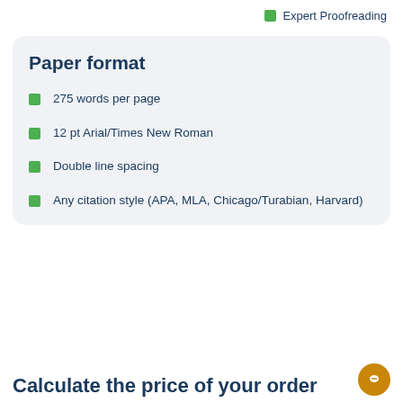Expert Proofreading
Paper format
275 words per page
12 pt Arial/Times New Roman
Double line spacing
Any citation style (APA, MLA, Chicago/Turabian, Harvard)
Calculate the price of your order